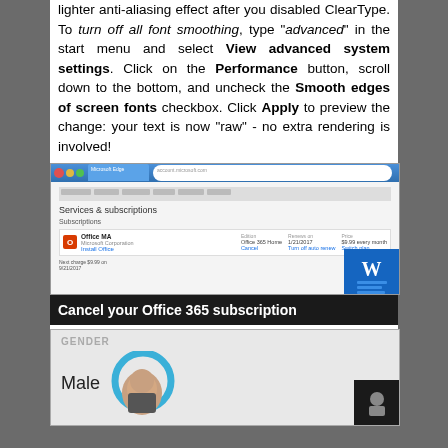lighter anti-aliasing effect after you disabled ClearType. To turn off all font smoothing, type "advanced" in the start menu and select View advanced system settings. Click on the Performance button, scroll down to the bottom, and uncheck the Smooth edges of screen fonts checkbox. Click Apply to preview the change: your text is now "raw" - no extra rendering is involved!
[Figure (screenshot): Screenshot of Microsoft account Services & subscriptions page showing Office 365 subscription details, with a Word icon overlay and caption 'Cancel your Office 365 subscription']
[Figure (screenshot): Screenshot showing a GENDER form field with 'Male' text and a hand cursor graphic]